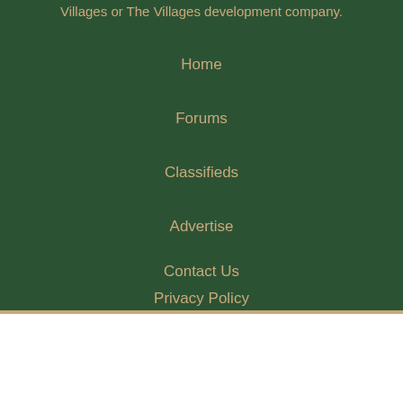Villages or The Villages development company.
Home
Forums
Classifieds
Advertise
Contact Us
Privacy Policy